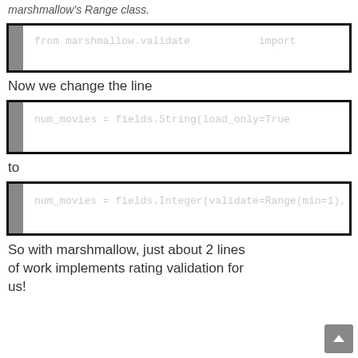marshmallow's Range class.
[Figure (screenshot): Code box showing: from marshmallow import with orange keywords 'from' and 'import']
Now we change the line
[Figure (screenshot): Code box showing a line of code ending with True in orange]
to
[Figure (screenshot): Code box showing a line of code ending with Tru in orange (truncated)]
So with marshmallow, just about 2 lines of work implements rating validation for us!